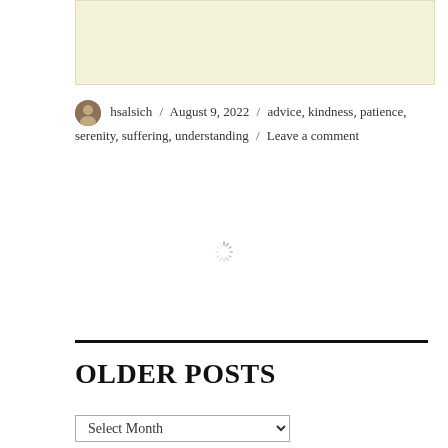[Figure (other): Beige/cream colored rectangular box at the top of the page]
hsalsich / August 9, 2022 / advice, kindness, patience, serenity, suffering, understanding / Leave a comment
[Figure (other): Loading spinner icon]
OLDER POSTS